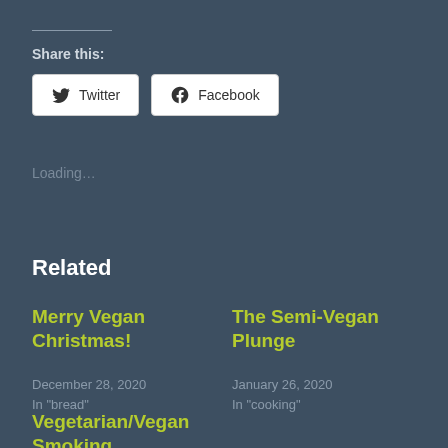Share this:
[Figure (other): Twitter and Facebook share buttons]
Loading...
Related
Merry Vegan Christmas!
December 28, 2020
In "bread"
The Semi-Vegan Plunge
January 26, 2020
In "cooking"
Vegetarian/Vegan Smoking